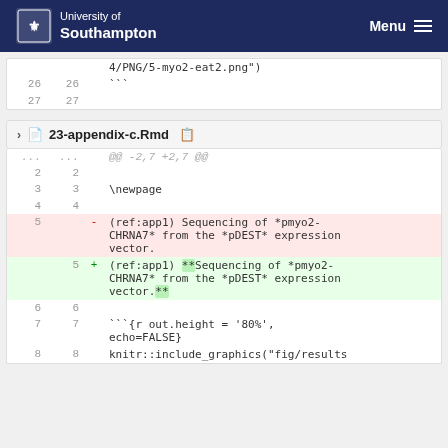University of Southampton — Menu
| old | new | content |
| --- | --- | --- |
|  |  | 4/PNG/5-myo2-eat2.png") |
| 26 | 26 | ``` |
| 27 | 27 |  |
23-appendix-c.Rmd
| old | new | op | content |
| --- | --- | --- | --- |
| ... | ... |  | @@ -2,7 +2,7 @@ |
| 2 | 2 |  |  |
| 3 | 3 |  | \newpage |
| 4 | 4 |  |  |
| 5 |  | - | (ref:app1) Sequencing of *pmyo2-CHRNA7* from the *pDEST* expression vector. |
|  | 5 | + | (ref:app1) **Sequencing of *pmyo2-CHRNA7* from the *pDEST* expression vector.** |
| 6 | 6 |  |  |
| 7 | 7 |  | ```{r out.height = '80%', echo=FALSE} |
| 8 | 8 |  | knitr::include_graphics("fig/results |